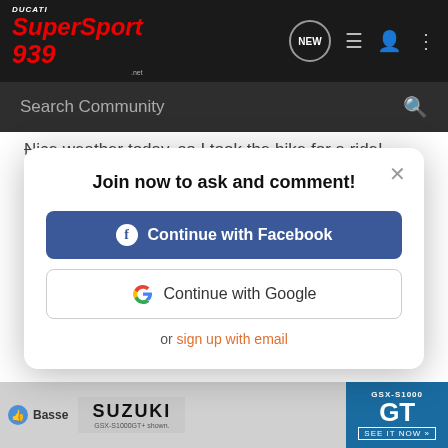Ducati SuperSport 939 — Navigation bar with logo and icons
Search Community
Nice weather today, so I took the bike for a ride! Drove some twisty roads and I really like how easy and effortless it turns in the corners.
Join now to ask and comment!
Continue with Facebook
Continue with Google
or sign up with email
Suzuki GSX-S1000 GT advertisement — SEE IT NOW